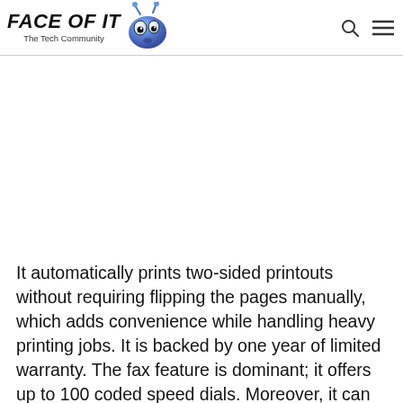FACE OF IT The Tech Community
It automatically prints two-sided printouts without requiring flipping the pages manually, which adds convenience while handling heavy printing jobs. It is backed by one year of limited warranty. The fax feature is dominant; it offers up to 100 coded speed dials. Moreover, it can handle up to 250 incoming pages at once. The scanned documents can